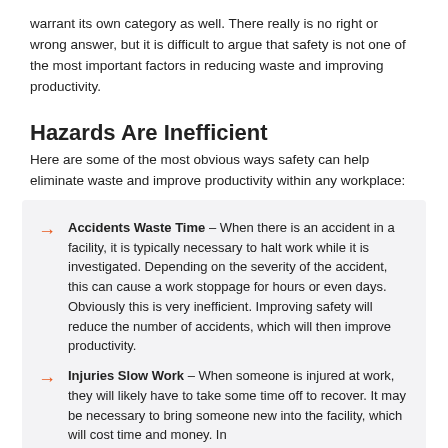warrant its own category as well. There really is no right or wrong answer, but it is difficult to argue that safety is not one of the most important factors in reducing waste and improving productivity.
Hazards Are Inefficient
Here are some of the most obvious ways safety can help eliminate waste and improve productivity within any workplace:
Accidents Waste Time – When there is an accident in a facility, it is typically necessary to halt work while it is investigated. Depending on the severity of the accident, this can cause a work stoppage for hours or even days. Obviously this is very inefficient. Improving safety will reduce the number of accidents, which will then improve productivity.
Injuries Slow Work – When someone is injured at work, they will likely have to take some time off to recover. It may be necessary to bring someone new into the facility, which will cost time and money. In